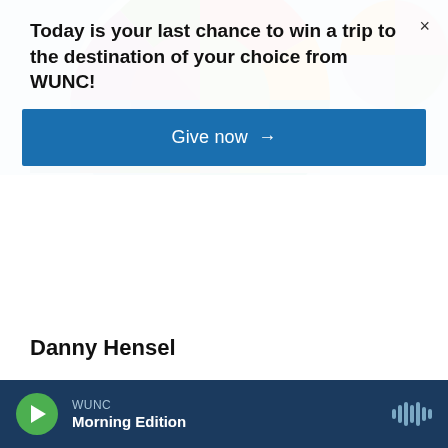[Figure (illustration): Colorful geometric mosaic/circle graphic used as WUNC website background decoration]
Today is your last chance to win a trip to the destination of your choice from WUNC!
Give now →
Danny Hensel
See stories by Danny Hensel
WUNC  Morning Edition  (audio player)